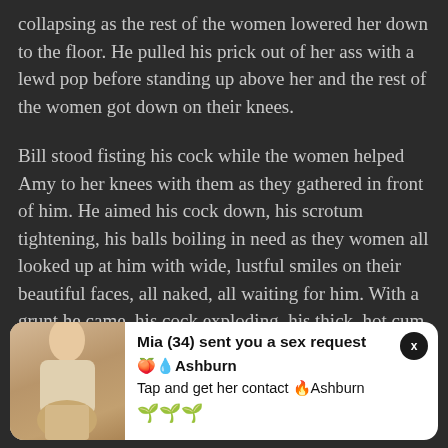collapsing as the rest of the women lowered her down to the floor. He pulled his prick out of her ass with a lewd pop before standing up above her and the rest of the women got down on their knees.
Bill stood fisting his cock while the women helped Amy to her knees with them as they gathered in front of him. He aimed his cock down, his scrotum tightening, his balls boiling in need as they women all looked up at him with wide, lustful smiles on their beautiful faces, all naked, all waiting for him. With a grunt he came, his cock exploding, his thick, hot cum raining down on the women. He tried his best to
[Figure (screenshot): Advertisement banner with photo of a woman and text: Mia (34) sent you a sex request, peach and droplet emojis, Ashburn, Tap and get her contact, fire emoji, Ashburn, three down-arrow plant emojis. Close button with X in top right.]